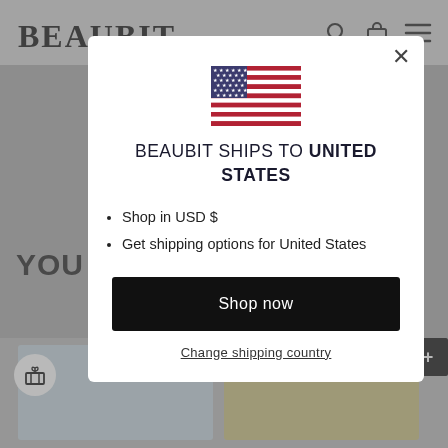[Figure (screenshot): Background website page showing BEAUBIT brand name, navigation icons, partial 'YOU M...' heading, and greyed-out product thumbnails]
[Figure (screenshot): Modal dialog pop-up with US flag, shipping message, bullet list, Shop now button, and Change shipping country link]
BEAUBIT SHIPS TO UNITED STATES
Shop in USD $
Get shipping options for United States
Shop now
Change shipping country